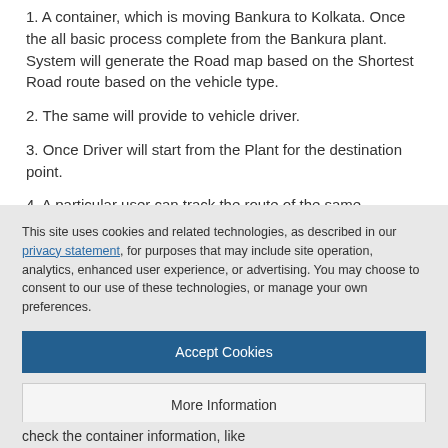1. A container, which is moving Bankura to Kolkata. Once the all basic process complete from the Bankura plant. System will generate the Road map based on the Shortest Road route based on the vehicle type.
2. The same will provide to vehicle driver.
3. Once Driver will start from the Plant for the destination point.
4. A particular user can track the route of the same.
This site uses cookies and related technologies, as described in our privacy statement, for purposes that may include site operation, analytics, enhanced user experience, or advertising. You may choose to consent to our use of these technologies, or manage your own preferences.
Accept Cookies
More Information
Privacy Policy | Powered by: TrustArc
check the container information, like